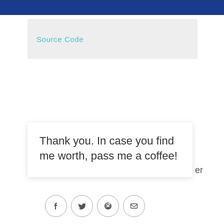[Figure (screenshot): Blue banner at top of page, partial website screenshot]
Source Code
Thank you. In case you find me worth, pass me a coffee!
[Figure (illustration): Purple circular button with coffee cup icon]
[Figure (illustration): Social share icons: Facebook, Twitter, Pinterest, Email]